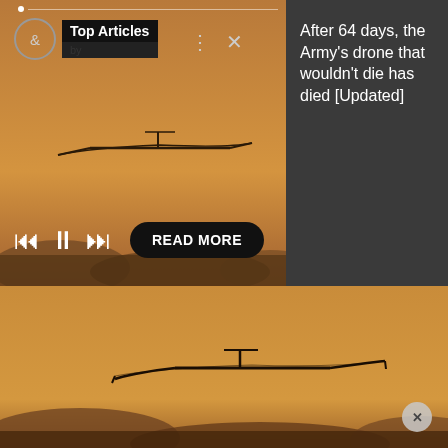[Figure (screenshot): Top Articles widget overlay showing a drone photo with orange/golden sky background, player controls (skip back, pause, skip forward) and a READ MORE button. Left panel shows the drone image with a progress bar at top, media controls at bottom. Right dark panel shows headline text.]
After 64 days, the Army's drone that wouldn't die has died [Updated]
[Figure (photo): Larger version of the same drone photograph: a thin long-wing drone silhouetted against a warm orange/golden sunset sky, with dark mountain silhouettes at the bottom.]